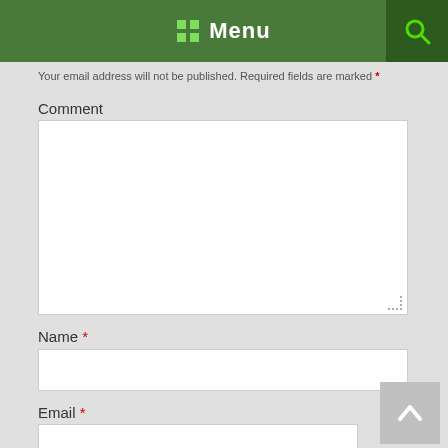Menu
Your email address will not be published. Required fields are marked *
Comment
Name *
Email *